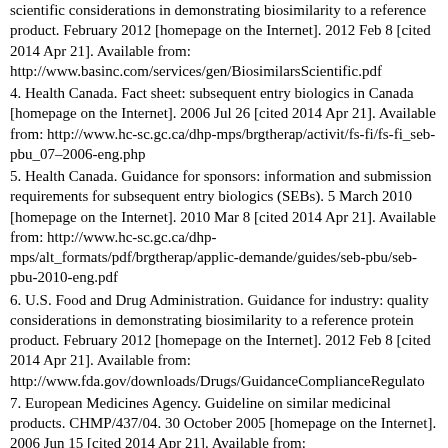scientific considerations in demonstrating biosimilarity to a reference product. February 2012 [homepage on the Internet]. 2012 Feb 8 [cited 2014 Apr 21]. Available from: http://www.basinc.com/services/gen/BiosimilarsScientific.pdf
4. Health Canada. Fact sheet: subsequent entry biologics in Canada [homepage on the Internet]. 2006 Jul 26 [cited 2014 Apr 21]. Available from: http://www.hc-sc.gc.ca/dhp-mps/brgtherap/activit/fs-fi/fs-fi_seb-pbu_07–2006-eng.php
5. Health Canada. Guidance for sponsors: information and submission requirements for subsequent entry biologics (SEBs). 5 March 2010 [homepage on the Internet]. 2010 Mar 8 [cited 2014 Apr 21]. Available from: http://www.hc-sc.gc.ca/dhp-mps/alt_formats/pdf/brgtherap/applic-demande/guides/seb-pbu/seb-pbu-2010-eng.pdf
6. U.S. Food and Drug Administration. Guidance for industry: quality considerations in demonstrating biosimilarity to a reference protein product. February 2012 [homepage on the Internet]. 2012 Feb 8 [cited 2014 Apr 21]. Available from: http://www.fda.gov/downloads/Drugs/GuidanceComplianceRegulato
7. European Medicines Agency. Guideline on similar medicinal products. CHMP/437/04. 30 October 2005 [homepage on the Internet]. 2006 Jun 15 [cited 2014 Apr 21]. Available from: https://www.tga.gov.au/pdf/euguide/chmp043704final.pdf
8. Health Canada. Questions & answers to accompany the final guidance for sponsors: information and submssion requirements for subsequent entry biologics (SEBs). 2014 [cited 2014 Apr 21].